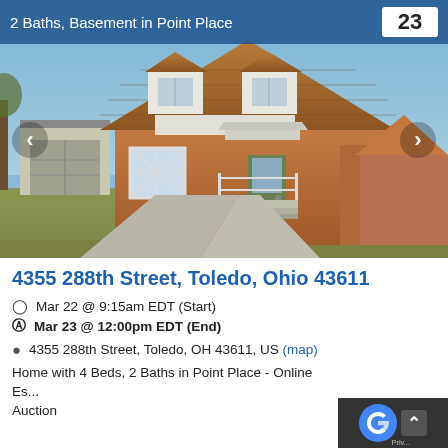[Figure (photo): Exterior photo of a brick Cape Cod style house with brown/orange asphalt shingle roof, white siding dormers, front porch with white railings, attached garage, concrete driveway, and lawn. Blue sky background. Navigation arrows on both sides.]
4355 288th Street, Toledo, Ohio 43611
Mar 22 @ 9:15am EDT (Start)
Mar 23 @ 12:00pm EDT (End)
4355 288th Street, Toledo, OH 43611, US (map)
Home with 4 Beds, 2 Baths in Point Place - Online Es... Auction